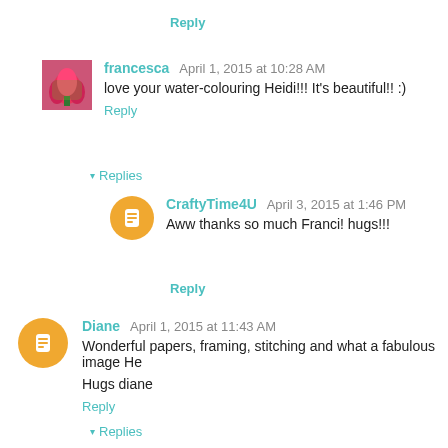Reply
francesca  April 1, 2015 at 10:28 AM
love your water-colouring Heidi!!! It's beautiful!! :)
Reply
Replies
CraftyTime4U  April 3, 2015 at 1:46 PM
Aww thanks so much Franci! hugs!!!
Reply
Diane  April 1, 2015 at 11:43 AM
Wonderful papers, framing, stitching and what a fabulous image He
Hugs diane
Reply
Replies